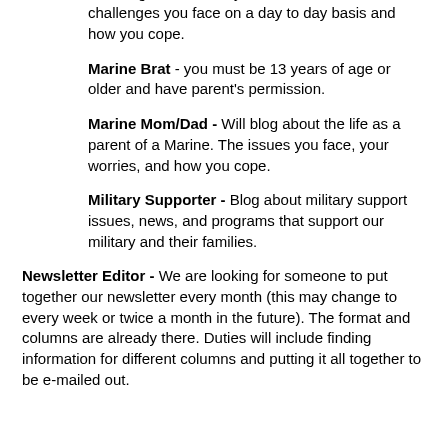Marine Girlfriend/Boyfriend - Blog about life as a Marine girlfriend or boyfriend. The issues and challenges you face on a day to day basis and how you cope.
Marine Brat - you must be 13 years of age or older and have parent's permission.
Marine Mom/Dad - Will blog about the life as a parent of a Marine. The issues you face, your worries, and how you cope.
Military Supporter - Blog about military support issues, news, and programs that support our military and their families.
Newsletter Editor - We are looking for someone to put together our newsletter every month (this may change to every week or twice a month in the future). The format and columns are already there. Duties will include finding information for different columns and putting it all together to be e-mailed out.